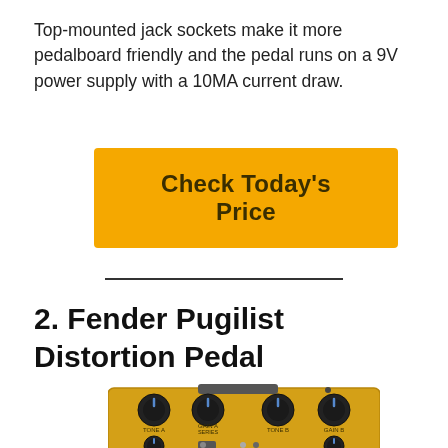Top-mounted jack sockets make it more pedalboard friendly and the pedal runs on a 9V power supply with a 10MA current draw.
[Figure (other): Yellow/amber button with bold text 'Check Today's Price']
2. Fender Pugilist Distortion Pedal
[Figure (photo): Fender Pugilist Distortion Pedal device with gold/yellow body, multiple black knobs labeled TONE A, GAIN A, TONE B, GAIN B, BLEND, BASS BOOST, LEVEL]